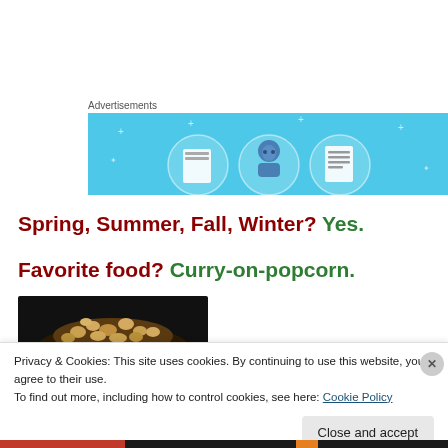Advertisements
[Figure (illustration): Advertisement banner with light blue background showing three circular icons with illustrated book, person with glasses, and lined document. Small star/sparkle decorations on background.]
Spring, Summer, Fall, Winter? Yes.
Favorite food? Curry-on-popcorn.
[Figure (photo): Close-up photo of popcorn in a dark bowl or plate, dark background.]
Privacy & Cookies: This site uses cookies. By continuing to use this website, you agree to their use.
To find out more, including how to control cookies, see here: Cookie Policy
Close and accept